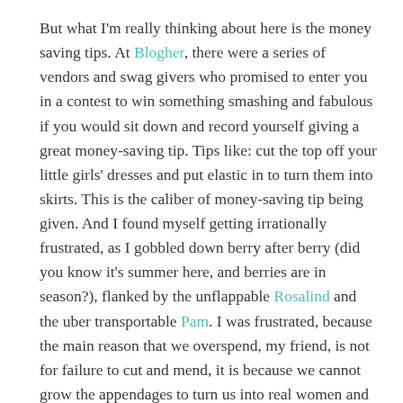But what I'm really thinking about here is the money saving tips. At Blogher, there were a series of vendors and swag givers who promised to enter you in a contest to win something smashing and fabulous if you would sit down and record yourself giving a great money-saving tip. Tips like: cut the top off your little girls' dresses and put elastic in to turn them into skirts. This is the caliber of money-saving tip being given. And I found myself getting irrationally frustrated, as I gobbled down berry after berry (did you know it's summer here, and berries are in season?), flanked by the unflappable Rosalind and the uber transportable Pam. I was frustrated, because the main reason that we overspend, my friend, is not for failure to cut and mend, it is because we cannot grow the appendages to turn us into real women and men and STOP BUYING.